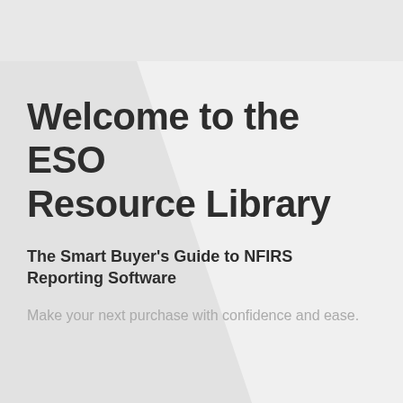Welcome to the ESO Resource Library
The Smart Buyer's Guide to NFIRS Reporting Software
Make your next purchase with confidence and ease.